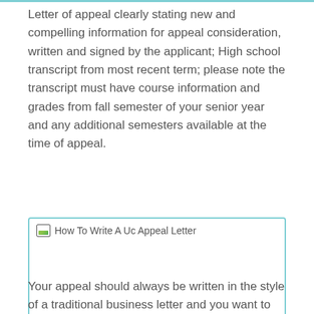Letter of appeal clearly stating new and compelling information for appeal consideration, written and signed by the applicant; High school transcript from most recent term; please note the transcript must have course information and grades from fall semester of your senior year and any additional semesters available at the time of appeal.
[Figure (other): Broken image placeholder with alt text 'How To Write A Uc Appeal Letter']
Your appeal should always be written in the style of a traditional business letter and you want to hire someone and